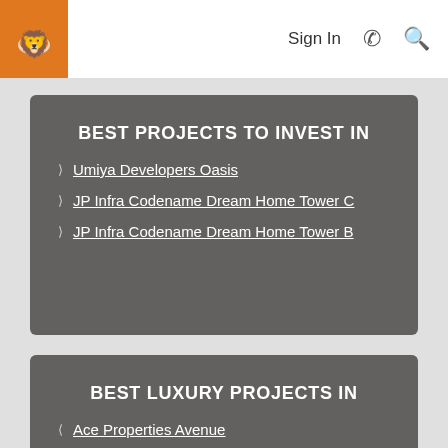Sign In
BEST PROJECTS TO INVEST IN
Umiya Developers Oasis
JP Infra Codename Dream Home Tower C
JP Infra Codename Dream Home Tower B
BEST LUXURY PROJECTS IN
Ace Properties Avenue
Shree Swastick Builders Meera Regency
Sonam Indraprasth